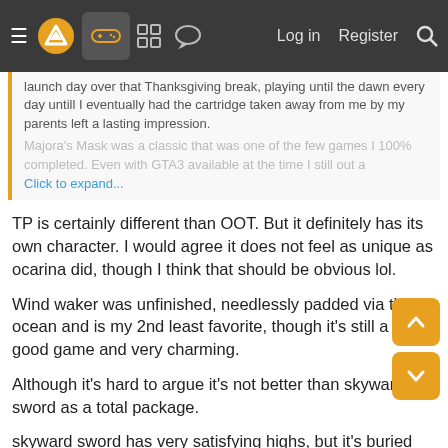Navigation bar with hamburger menu, logo, gamepad icon (active), grid icon, chat icon, Log in, Register, Search
launch day over that Thanksgiving break, playing until the dawn every day untill I eventually had the cartridge taken away from me by my parents left a lasting impression.
Majora's Mask was a classic that was one of the few games I 100% completed. Even with GTA3 available at the time I still out a
Click to expand...
TP is certainly different than OOT. But it definitely has its own character. I would agree it does not feel as unique as ocarina did, though I think that should be obvious lol.
Wind waker was unfinished, needlessly padded via the ocean and is my 2nd least favorite, though it's still a damn good game and very charming.
Although it's hard to argue it's not better than skyward sword as a total package.
skyward sword has very satisfying highs, but it's buried under a lot of crud.